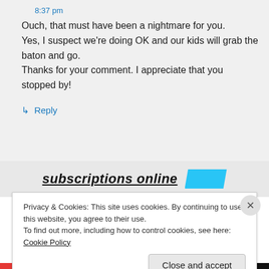8:37 pm
Ouch, that must have been a nightmare for you.
Yes, I suspect we're doing OK and our kids will grab the baton and go.
Thanks for your comment. I appreciate that you stopped by!
↳ Reply
subscriptions online
Privacy & Cookies: This site uses cookies. By continuing to use this website, you agree to their use.
To find out more, including how to control cookies, see here: Cookie Policy
Close and accept